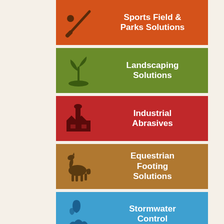[Figure (infographic): Sports Field & Parks Solutions tile — orange background with baseball bat and ball silhouette icon on left, white bold text on right]
[Figure (infographic): Landscaping Solutions tile — green background with plant/seedling silhouette icon on left, white bold text on right]
[Figure (infographic): Industrial Abrasives tile — red background with factory/industrial building silhouette icon on left, white bold text on right]
[Figure (infographic): Equestrian Footing Solutions tile — brown/tan background with horse silhouette icon on left, white bold text on right]
[Figure (infographic): Stormwater Control tile — blue background with water drop / flame silhouette icon on left, white bold text on right (partially visible)]